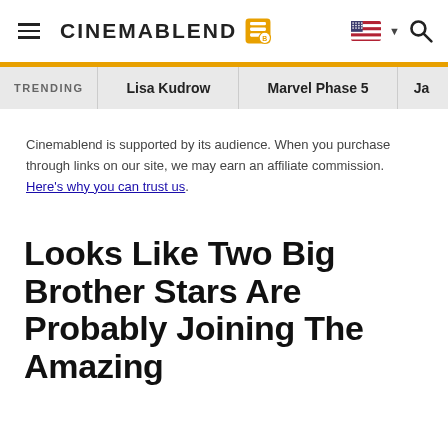CINEMABLEND
TRENDING   Lisa Kudrow   Marvel Phase 5   Ja…
Cinemablend is supported by its audience. When you purchase through links on our site, we may earn an affiliate commission. Here's why you can trust us.
Looks Like Two Big Brother Stars Are Probably Joining The Amazing